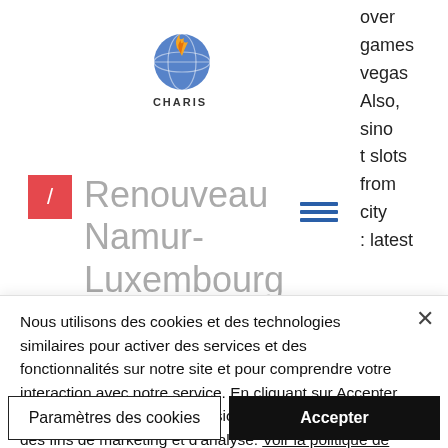[Figure (logo): CHARIS logo — globe with flame, text CHARIS below]
Renouveau Namur-Luxembourg
over games vegas Also, sino t slots from city : latest
online casino games. Play slots, blackjack, live casino, roulette and more. Playing slots
Nous utilisons des cookies et des technologies similaires pour activer des services et des fonctionnalités sur notre site et pour comprendre votre interaction avec notre service. En cliquant sur Accepter, vous acceptez que nous utilisions ces technologies à des fins de marketing et d'analyse. Voir la politique de confidentialité
Paramètres des cookies
Accepter